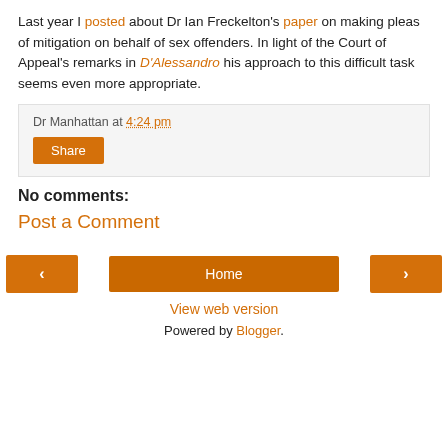Last year I posted about Dr Ian Freckelton's paper on making pleas of mitigation on behalf of sex offenders. In light of the Court of Appeal's remarks in D'Alessandro his approach to this difficult task seems even more appropriate.
Dr Manhattan at 4:24 pm
Share
No comments:
Post a Comment
< Home >
View web version
Powered by Blogger.